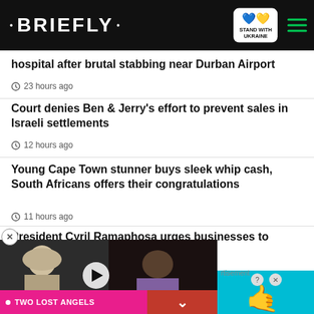• BRIEFLY •
hospital after brutal stabbing near Durban Airport
23 hours ago
Court denies Ben & Jerry's effort to prevent sales in Israeli settlements
12 hours ago
Young Cape Town stunner buys sleek whip cash, South Africans offers their congratulations
11 hours ago
President Cyril Ramaphosa urges businesses to employ young ent tax incentive
[Figure (screenshot): Video player overlay showing two black-and-white performance photos with play button, pink TWO LOST ANGELS label, and red down arrow button]
Advertisement
[Figure (screenshot): BitLife advertisement banner: NOW WITH GOD MODE on cyan background with hand pointing icon]